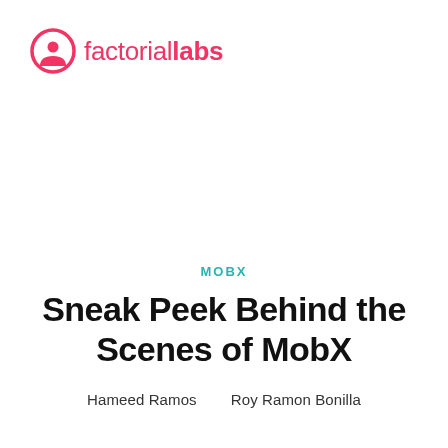factorial labs
MOBX
Sneak Peek Behind the Scenes of MobX
Hameed Ramos   Roy Ramon Bonilla